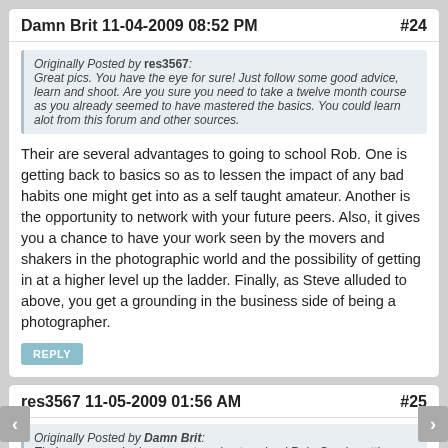Damn Brit 11-04-2009 08:52 PM #24
Originally Posted by res3567: Great pics. You have the eye for sure! Just follow some good advice, learn and shoot. Are you sure you need to take a twelve month course as you already seemed to have mastered the basics. You could learn alot from this forum and other sources.
Their are several advantages to going to school Rob. One is getting back to basics so as to lessen the impact of any bad habits one might get into as a self taught amateur. Another is the opportunity to network with your future peers. Also, it gives you a chance to have your work seen by the movers and shakers in the photographic world and the possibility of getting in at a higher level up the ladder. Finally, as Steve alluded to above, you get a grounding in the business side of being a photographer.
res3567 11-05-2009 01:56 AM #25
Originally Posted by Damn Brit: Their are several advantages to going to school Rob. One is getting back to basics so as to lessen the impact of any bad habits one might get into